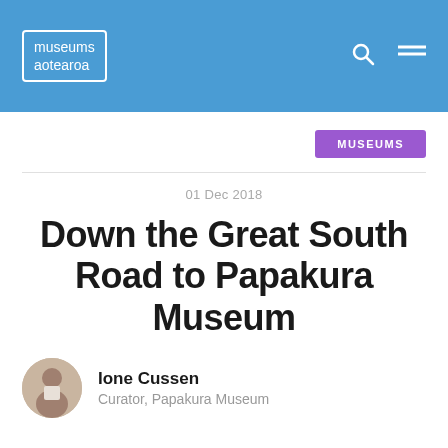museums aotearoa
MUSEUMS
01 Dec 2018
Down the Great South Road to Papakura Museum
Ione Cussen
Curator, Papakura Museum